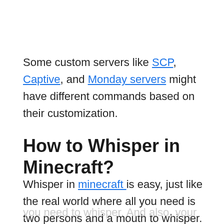Some custom servers like SCP, Captive, and Monday servers might have different commands based on their customization.
How to Whisper in Minecraft?
Whisper in minecraft is easy, just like the real world where all you need is two persons and a mouth to whisper. To whisper, you need to have a code that
you need to whisper. And also, your system should